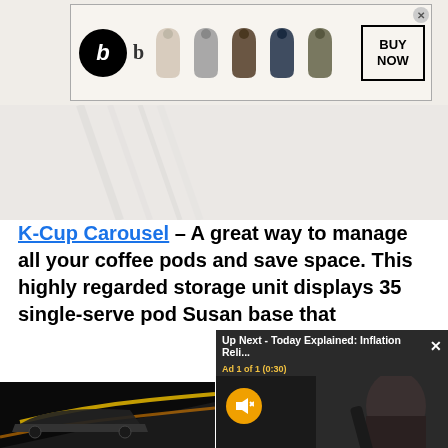[Figure (screenshot): Beats headphones advertisement banner showing Beats logo, small 'b' logo, five earphone variants in different colors (beige, gray, brown, navy, olive), and a BUY NOW button in a bordered box with an X close button.]
[Figure (photo): Blurred background image of white kitchen with fork or utensil visible.]
K-Cup Carousel – A great way to manage all your coffee pods and save space. This highly regarded storage unit displays 35 single-serve pod Susan base that
[Figure (photo): Close-up product photo of a K-Cup carousel / coffee pod holder in copper and dark brown tones.]
[Figure (screenshot): Video overlay popup: 'Up Next - Today Explained: Inflation Reli...' with X close button, 'Ad 1 of 1 (0:30)' label in yellow, muted icon (speaker with X in orange circle), and video frame showing person having hair styled.]
[Figure (screenshot): Porsche advertisement at bottom: photo of Porsche 911 on a winding road on the left, text area with 'The new 911.' in bold and 'Ever ahead.' in gray with a blue LEARN MORE button, Porsche logo on right, and orange strip on far right.]